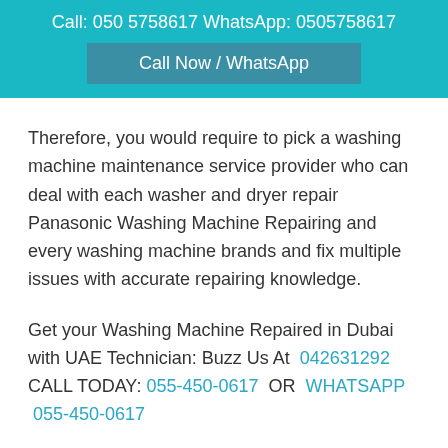Call: 050 5758617 WhatsApp: 0505758617
Call Now / WhatsApp
Therefore, you would require to pick a washing machine maintenance service provider who can deal with each washer and dryer repair Panasonic Washing Machine Repairing and every washing machine brands and fix multiple issues with accurate repairing knowledge.
Get your Washing Machine Repaired in Dubai with UAE Technician: Buzz Us At 042631292 CALL TODAY: 055-450-0617 OR WHATSAPP 055-450-0617
Major Areas we Serve in Dubai
Al Barsha,
[Figure (photo): Photo of washing machine repair service, teal/blue tones]